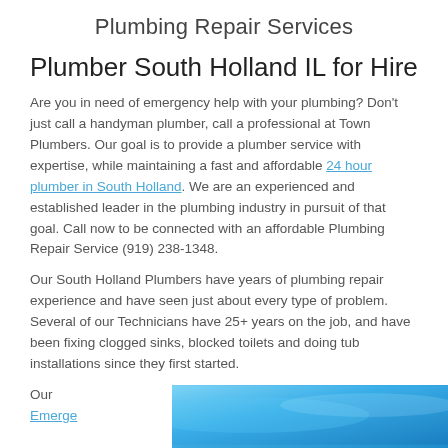Plumbing Repair Services
Plumber South Holland IL for Hire
Are you in need of emergency help with your plumbing? Don't just call a handyman plumber, call a professional at Town Plumbers. Our goal is to provide a plumber service with expertise, while maintaining a fast and affordable 24 hour plumber in South Holland. We are an experienced and established leader in the plumbing industry in pursuit of that goal. Call now to be connected with an affordable Plumbing Repair Service (919) 238-1348.
Our South Holland Plumbers have years of plumbing repair experience and have seen just about every type of problem. Several of our Technicians have 25+ years on the job, and have been fixing clogged sinks, blocked toilets and doing tub installations since they first started.
Our Emerge
[Figure (photo): Blue water or sky background photo, partially visible at the bottom right of the page.]